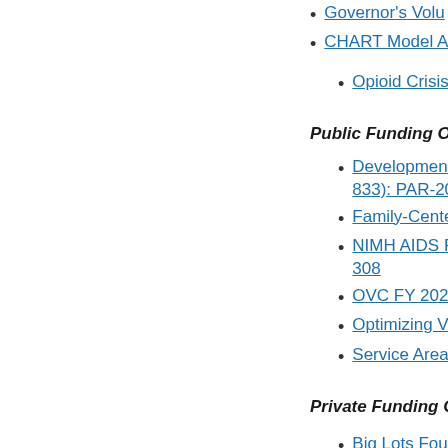Governor's Volu...
CHART Model Ap...
Opioid Crisis Inn...
Public Funding Opportu...
Developmental A... 833): PAR-20-30...
Family-Centered...
NIMH AIDS Rese... 308
OVC FY 2021 Ad...
Optimizing Virtu...
Service Area Com...
Private Funding Oppor...
Big Lots Founda...
Build it with KaB...
ConocoPhillips C...